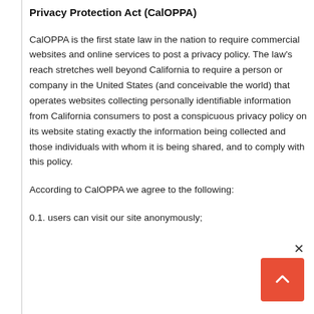Privacy Protection Act (CalOPPA)
CalOPPA is the first state law in the nation to require commercial websites and online services to post a privacy policy. The law's reach stretches well beyond California to require a person or company in the United States (and conceivable the world) that operates websites collecting personally identifiable information from California consumers to post a conspicuous privacy policy on its website stating exactly the information being collected and those individuals with whom it is being shared, and to comply with this policy.
According to CalOPPA we agree to the following:
0.1. users can visit our site anonymously;